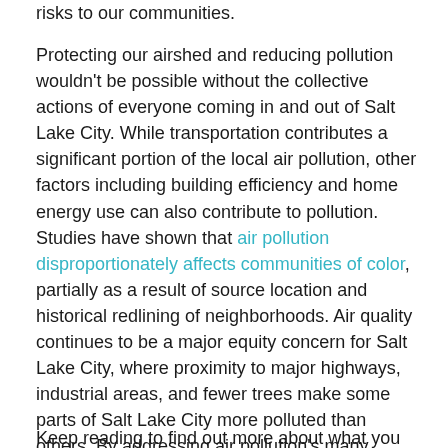risks to our communities.
Protecting our airshed and reducing pollution wouldn't be possible without the collective actions of everyone coming in and out of Salt Lake City. While transportation contributes a significant portion of the local air pollution, other factors including building efficiency and home energy use can also contribute to pollution. Studies have shown that air pollution disproportionately affects communities of color, partially as a result of source location and historical redlining of neighborhoods. Air quality continues to be a major equity concern for Salt Lake City, where proximity to major highways, industrial areas, and fewer trees make some parts of Salt Lake City more polluted than others. By addressing air pollution's many sources, Salt Lake City can help improve air quality.
Keep reading to find out more about what you can do